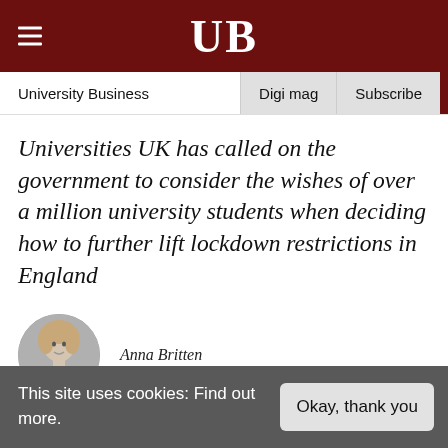UB
University Business  Digi mag  Subscribe
Universities UK has called on the government to consider the wishes of over a million university students when deciding how to further lift lockdown restrictions in England
Anna Britten
This site uses cookies: Find out more.